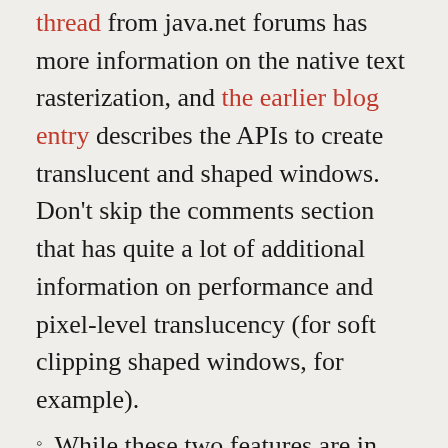thread from java.net forums has more information on the native text rasterization, and the earlier blog entry describes the APIs to create translucent and shaped windows. Don't skip the comments section that has quite a lot of additional information on performance and pixel-level translucency (for soft clipping shaped windows, for example).
While these two features are in the latest development builds of 6u10, a lot of applications can benefit from this functionality in JDK 5.0. The native text rasterization is available under Substance